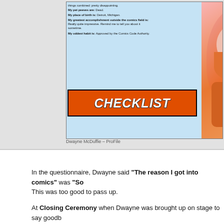[Figure (photo): Comic book panel showing text questionnaire entries and a 'CHECKLIST' banner in orange/black, with a comic character on the right side (pink/orange colored alien or character face)]
Dwayne McDuffie – ProFile
In the questionnaire, Dwayne said "The reason I got into comics" was "So... This was too good to pass up.
At Closing Ceremony when Dwayne was brought up on stage to say goodb... this quote, and told Dwayne that CONvergence was the place where dream...
[Figure (photo): Photo of a man on stage holding a sign/artwork depicting Wolverine (X-Men character), with comic book artwork visible in the background]